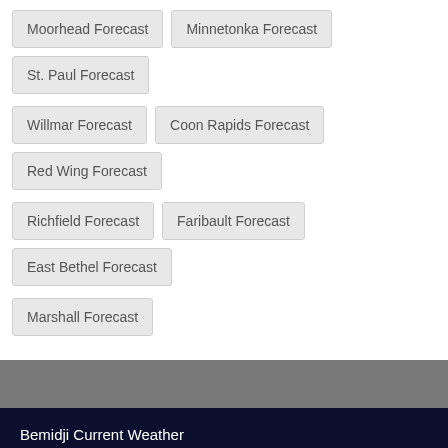Moorhead Forecast
Minnetonka Forecast
St. Paul Forecast
Willmar Forecast
Coon Rapids Forecast
Red Wing Forecast
Richfield Forecast
Faribault Forecast
East Bethel Forecast
Marshall Forecast
Bemidji Current Weather
Minnesota, MN
Bemidji
[Figure (illustration): Partly sunny weather icon with sun and cloud]